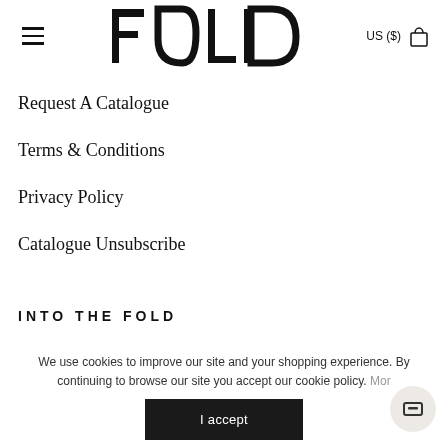FOLD — US ($)
Request A Catalogue
Terms & Conditions
Privacy Policy
Catalogue Unsubscribe
INTO THE FOLD
We use cookies to improve our site and your shopping experience. By continuing to browse our site you accept our cookie policy. More
I accept